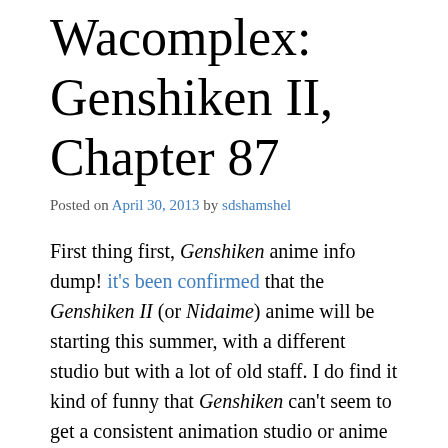Wacomplex: Genshiken II, Chapter 87
Posted on April 30, 2013 by sdshamshel
First thing first, Genshiken anime info dump! it's been confirmed that the Genshiken II (or Nidaime) anime will be starting this summer, with a different studio but with a lot of old staff. I do find it kind of funny that Genshiken can't seem to get a consistent animation studio or anime character designer, and given the sheer variation of work that the character designer Taniguchi Junichirou has worked on, it's hard to predict how they'll look exactly. Also, Uesaka Sumire will be